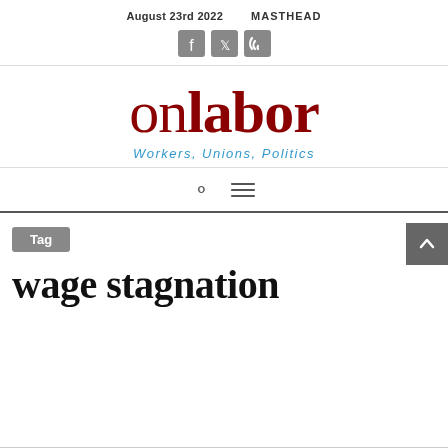August 23rd 2022    MASTHEAD
[Figure (other): Social media icons: Facebook, Twitter, RSS feed in grey rounded squares]
onlabor Workers, Unions, Politics
Tag
wage stagnation